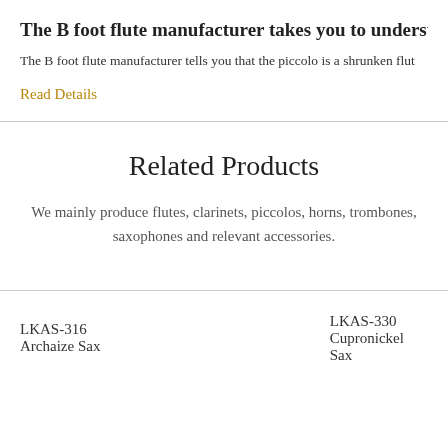The B foot flute manufacturer takes you to understand th
The B foot flute manufacturer tells you that the piccolo is a shrunken flut
Read Details
Related Products
We mainly produce flutes, clarinets, piccolos, horns, trombones, saxophones and relevant accessories.
LKAS-316 Archaize Sax
LKAS-330 Cupronickel Sax